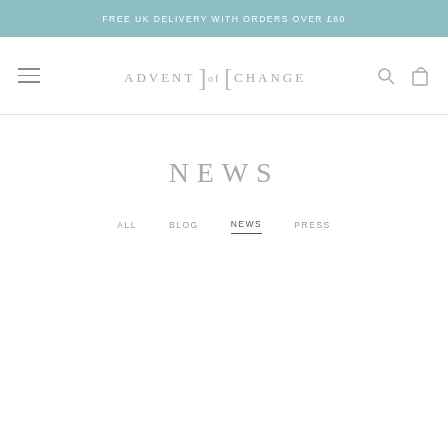FREE UK DELIVERY WITH ORDERS OVER £60
[Figure (logo): Advent of Change logo with stylized brackets around 'of']
NEWS
ALL   BLOG   NEWS   PRESS